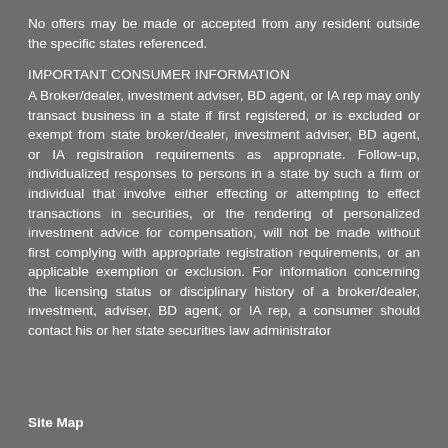No offers may be made or accepted from any resident outside the specific states referenced.
IMPORTANT CONSUMER INFORMATION
A Broker/dealer, investment adviser, BD agent, or IA rep may only transact business in a state if first registered, or is excluded or exempt from state broker/dealer, investment adviser, BD agent, or IA registration requirements as appropriate. Follow-up, individualized responses to persons in a state by such a firm or individual that involve either effecting or attempting to effect transactions in securities, or the rendering of personalized investment advice for compensation, will not be made without first complying with appropriate registration requirements, or an applicable exemption or exclusion. For information concerning the licensing status or disciplinary history of a broker/dealer, investment, adviser, BD agent, or IA rep, a consumer should contact his or her state securities law administrator
Site Map